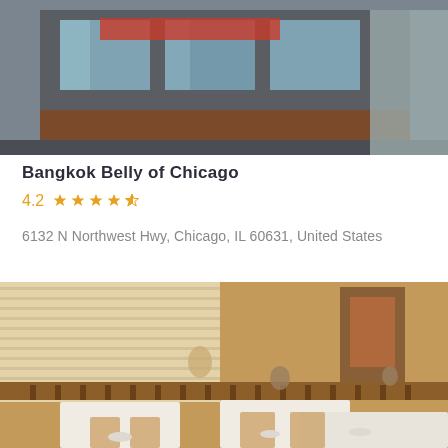[Figure (photo): Exterior photo of Bangkok Belly of Chicago restaurant storefront]
Bangkok Belly of Chicago
4.2  ★★★★☆
6132 N Northwest Hwy, Chicago, IL 60631, United States
[Figure (photo): Interior photo of Bangkok Belly of Chicago restaurant dining room with wooden furniture and white tablecloths]